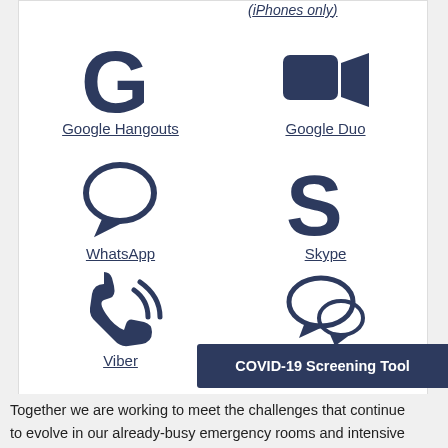(iPhones only)
[Figure (illustration): Grid of app icons: Google Hangouts (G logo), Google Duo (video camera icon), WhatsApp (speech bubble), Skype (S logo), Viber (phone with waves), Signal (speech bubble)]
Google Hangouts
Google Duo
WhatsApp
Skype
Viber
Signal
COVID-19 Screening Tool
Together we are working to meet the challenges that continue to evolve in our already-busy emergency rooms and intensive